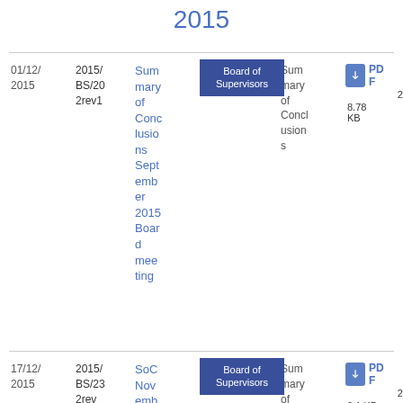2015
| Date | Ref | Title | Committee | Type | File |
| --- | --- | --- | --- | --- | --- |
| 01/12/2015 | 2015/BS/202rev1 | Summary of Conclusions September 2015 Board meeting | Board of Supervisors | Summary of Conclusions | PDF 8.78 KB 26 |
| 17/12/2015 | 2015/BS/232rev | SoC November er | Board of Supervisors | Summary of Concl usion | PDF 9.1 KB 27 |